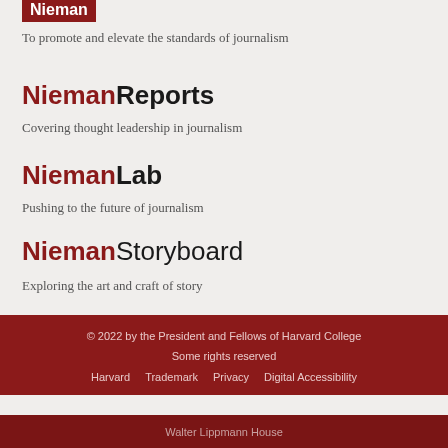[Figure (logo): Nieman logo (clipped, red background)]
To promote and elevate the standards of journalism
[Figure (logo): NiemanReports logo: 'Nieman' in dark red bold, 'Reports' in black bold]
Covering thought leadership in journalism
[Figure (logo): NiemanLab logo: 'Nieman' in dark red bold, 'Lab' in black bold]
Pushing to the future of journalism
[Figure (logo): NiemanStoryboard logo: 'Nieman' in dark red bold, 'Storyboard' in black]
Exploring the art and craft of story
© 2022 by the President and Fellows of Harvard College
Some rights reserved
Harvard  Trademark  Privacy  Digital Accessibility
Walter Lippmann House